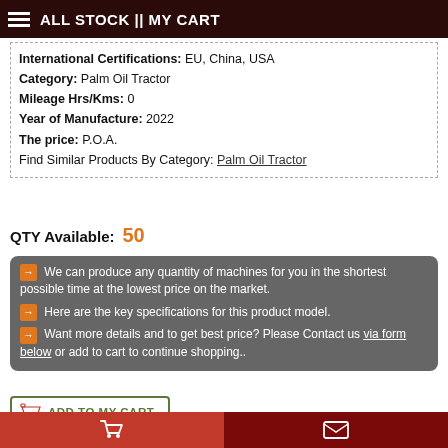ALL STOCK || MY CART
International Certifications: EU, China, USA
Category: Palm Oil Tractor
Mileage Hrs/Kms: 0
Year of Manufacture: 2022
The price: P.O.A.
Find Similar Products By Category: Palm Oil Tractor
QTY Available: 50
We can produce any quantity of machines for you in the shortest possible time at the lowest price on the market.
Here are the key specifications for this product model.
Want more details and to get best price? Please Contact us via form below or add to cart to continue shopping..
ADD TO MY CART
Enquiries: 2809